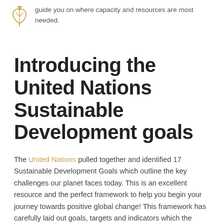guide you on where capacity and resources are most needed.
Introducing the United Nations Sustainable Development goals
The United Nations pulled together and identified 17 Sustainable Development Goals which outline the key challenges our planet faces today. This is an excellent resource and the perfect framework to help you begin your journey towards positive global change! This framework has carefully laid out goals, targets and indicators which the United Nations have set out to reach by 2030. If we all succeed, the